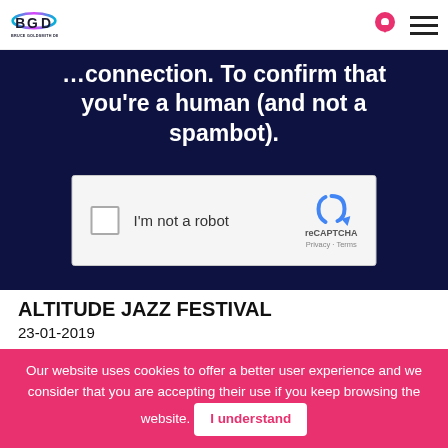Bruce Goldsmith Design
[Figure (screenshot): reCAPTCHA widget with checkbox labeled I'm not a robot on dark blue background with text about confirming you are human and not a spambot]
ALTITUDE JAZZ FESTIVAL
23-01-2019
The Flying Frenchies take to the sky over Briançon with musical instruments and paragliders. Check out the spectacle! MORE
Our website uses cookies to offer a better user experience and we consider that you are accepting their use if you keep browsing the website. I understand